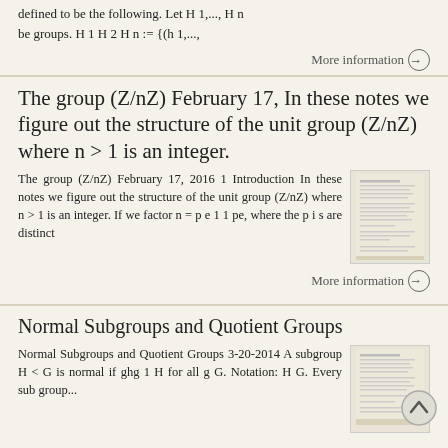defined to be the following. Let H 1,..., H n be groups. H 1 H 2 H n := {(h 1,...,
More information →
The group (Z/nZ) February 17, In these notes we figure out the structure of the unit group (Z/nZ) where n > 1 is an integer.
The group (Z/nZ) February 17, 2016 1 Introduction In these notes we figure out the structure of the unit group (Z/nZ) where n > 1 is an integer. If we factor n = p e 1 1 pe, where the p i s are distinct
[Figure (screenshot): Thumbnail image of a document page about the group (Z/nZ)]
More information →
Normal Subgroups and Quotient Groups
Normal Subgroups and Quotient Groups 3-20-2014 A subgroup H < G is normal if ghg 1 H for all g G. Notation: H G. Every sub group...
[Figure (screenshot): Thumbnail image of a document page about Normal Subgroups and Quotient Groups]